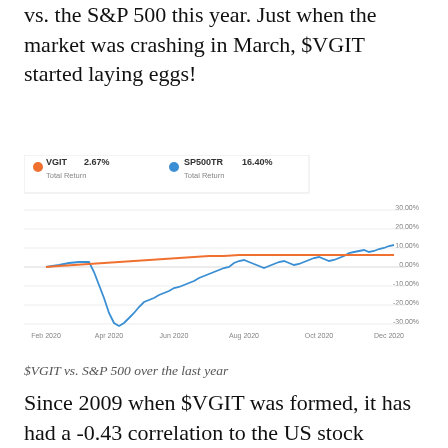vs. the S&P 500 this year. Just when the market was crashing in March, $VGIT started laying eggs!
[Figure (line-chart): VGIT vs SP500TR over the last year]
$VGIT vs. S&P 500 over the last year
Since 2009 when $VGIT was formed, it has had a -0.43 correlation to the US stock market. The 88/12% combo of $VGIT and $VTI have a combined correlation to the US stock market of